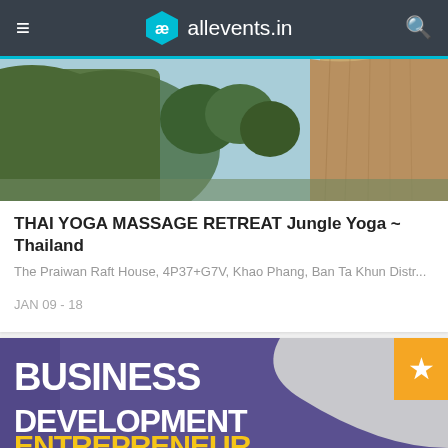allevents.in
[Figure (photo): Jungle landscape with limestone cliffs and tropical vegetation in Thailand]
THAI YOGA MASSAGE RETREAT Jungle Yoga ~ Thailand
The Praiwan Raft House, 4P37+G7V, Khao Phang, Ban Ta Khun Distr...
JAN 09 - 18
[Figure (photo): Business Development event banner with purple background and bold white text reading BUSINESS DEVELOPMENT ENTREPRENEURSHIP, with orange star badge in top right corner]
Business Development & Entrepreneur Conference For Africans & Black Canadians